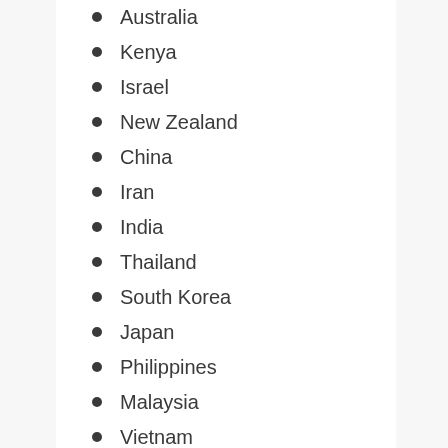Australia
Kenya
Israel
New Zealand
China
Iran
India
Thailand
South Korea
Japan
Philippines
Malaysia
Vietnam
Taiwan.